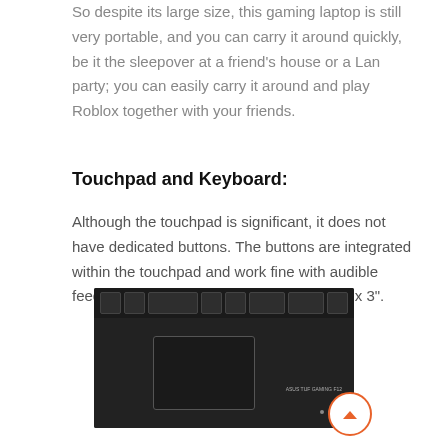So despite its large size, this gaming laptop is still very portable, and you can carry it around quickly, be it the sleepover at a friend's house or a Lan party; you can easily carry it around and play Roblox together with your friends.
Touchpad and Keyboard:
Although the touchpad is significant, it does not have dedicated buttons. The buttons are integrated within the touchpad and work fine with audible feedback. The size of the touchpad is 5.1" x 3".
[Figure (photo): Close-up photograph of a gaming laptop keyboard and touchpad area, showing the dark keyboard with backlit keys at the top, a large rectangular touchpad/trackpad on the lower left, and branding text on the lower right. An orange circular scroll-to-top button overlays the right side.]